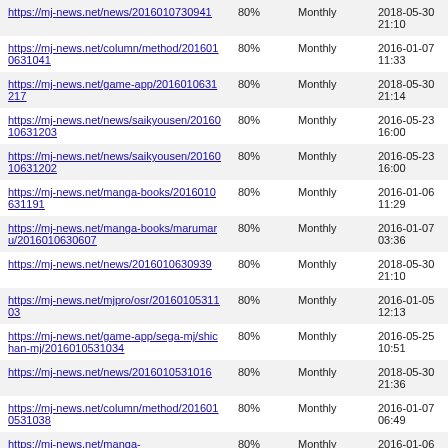| https://mj-news.net/news/2016010730941 | 80% | Monthly | 2018-05-30 21:10 |
| https://mj-news.net/column/method/2016010631041 | 80% | Monthly | 2016-01-07 11:33 |
| https://mj-news.net/game-app/2016010631217 | 80% | Monthly | 2018-05-30 21:14 |
| https://mj-news.net/news/saikyousen/2016010631203 | 80% | Monthly | 2016-05-23 16:00 |
| https://mj-news.net/news/saikyousen/2016010631202 | 80% | Monthly | 2016-05-23 16:00 |
| https://mj-news.net/manga-books/2016010631191 | 80% | Monthly | 2016-01-06 11:29 |
| https://mj-news.net/manga-books/marumaru/2016010630607 | 80% | Monthly | 2016-01-07 03:36 |
| https://mj-news.net/news/2016010630939 | 80% | Monthly | 2018-05-30 21:10 |
| https://mj-news.net/mjpro/osr/2016010531103 | 80% | Monthly | 2016-01-05 12:13 |
| https://mj-news.net/game-app/sega-mj/shichan-mj/2016010531034 | 80% | Monthly | 2016-05-25 10:51 |
| https://mj-news.net/news/2016010531016 | 80% | Monthly | 2018-05-30 21:36 |
| https://mj-news.net/column/method/2016010531038 | 80% | Monthly | 2016-01-07 06:49 |
| https://mj-news.net/manga-... | 80% | Monthly | 2016-01-06 ... |